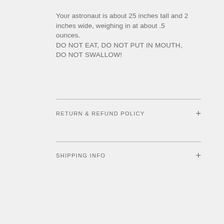Your astronaut is about 25 inches tall and 2 inches wide, weighing in at about .5 ounces.
DO NOT EAT, DO NOT PUT IN MOUTH, DO NOT SWALLOW!
RETURN & REFUND POLICY
SHIPPING INFO